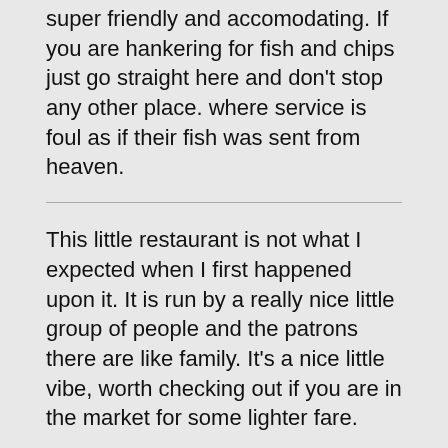super friendly and accomodating. If you are hankering for fish and chips just go straight here and don't stop any other place. where service is foul as if their fish was sent from heaven.
This little restaurant is not what I expected when I first happened upon it. It is run by a really nice little group of people and the patrons there are like family. It's a nice little vibe, worth checking out if you are in the market for some lighter fare.
The meals are good and the prices are reasonable. As I mentioned in my quick tip, if you are dieting you really need to try the grilled Orange Roughy and salad. Cheers!
John's is absolute best fish and chips I've ever had by far. Price is very reasonable, great atmosphere